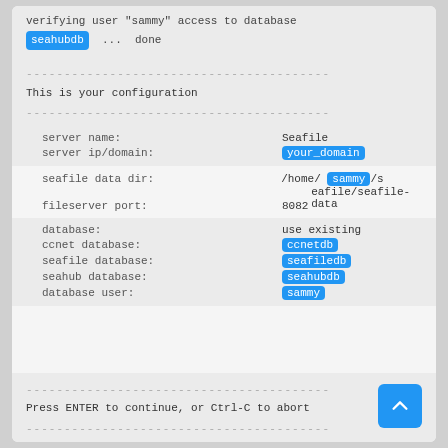verifying user "sammy" access to database seahubdb ... done
----------------------------------------
This is your configuration
----------------------------------------
server name:          Seafile
server ip/domain:     your_domain
seafile data dir:     /home/sammy/seafile/seafile-data
fileserver port:      8082
database:             use existing
ccnet database:       ccnetdb
seafile database:     seafiledb
seahub database:      seahubdb
database user:        sammy
----------------------------------------
Press ENTER to continue, or Ctrl-C to abort
----------------------------------------